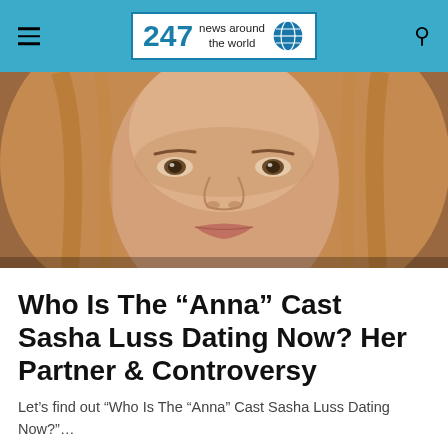247 news around the world
[Figure (photo): Close-up portrait of a woman with long reddish-blonde hair, looking directly at the camera with a serious expression]
Who Is The “Anna” Cast Sasha Luss Dating Now? Her Partner & Controversy
Let’s find out “Who Is The “Anna” Cast Sasha Luss Dating Now?”…
247 News Around The World · August 18, 2022